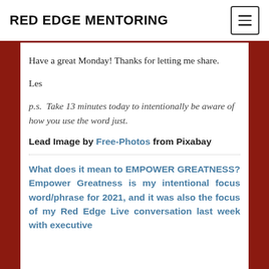RED EDGE MENTORING
Have a great Monday! Thanks for letting me share.
Les
p.s.  Take 13 minutes today to intentionally be aware of how you use the word just.
Lead Image by Free-Photos from Pixabay
What does it mean to EMPOWER GREATNESS? Empower Greatness is my intentional focus word/phrase for 2021, and it was also the focus of my Red Edge Live conversation last week with executive